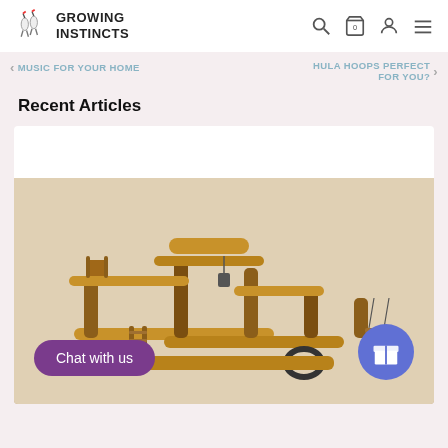[Figure (logo): Growing Instincts logo with two stork birds and text 'GROWING INSTINCTS']
< MUSIC FOR YOUR HOME
HULA HOOPS PERFECT FOR YOU? >
Recent Articles
[Figure (photo): Wooden toy playset with logs, platforms, ladders, and hanging elements on a white background. Chat with us button and gift icon button overlaid.]